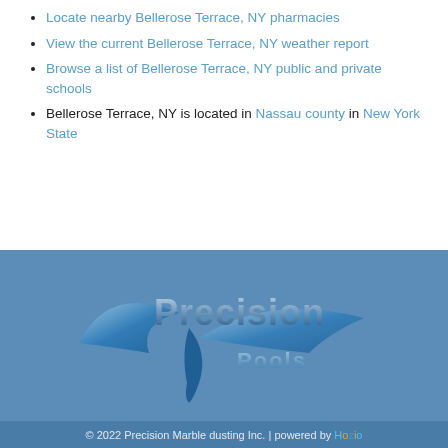Locate nearby Bellerose Terrace, NY pharmacies
View the current Bellerose Terrace, NY weather report
Browse a list of Bellerose Terrace, NY public and private schools
Bellerose Terrace, NY is located in Nassau county in New York State
[Figure (logo): Precision Pools logo with stylized blue swoosh and text]
© 2022 Precision Marble dusting Inc. | powered by Hozio